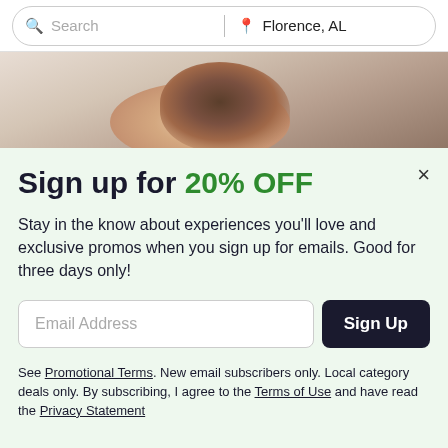Search | Florence, AL
[Figure (photo): Partial photo of a person lying face down, showing the back of their head with brown hair and bare skin, visible behind the modal overlay.]
Sign up for 20% OFF
Stay in the know about experiences you'll love and exclusive promos when you sign up for emails. Good for three days only!
Email Address
Sign Up
See Promotional Terms. New email subscribers only. Local category deals only. By subscribing, I agree to the Terms of Use and have read the Privacy Statement